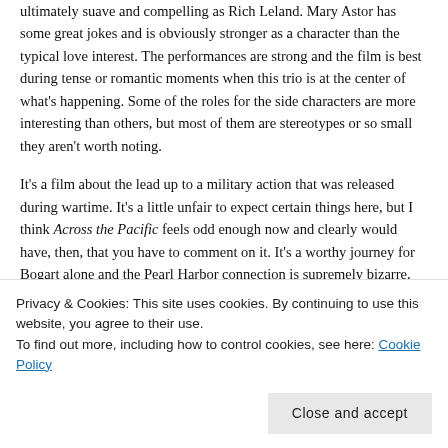ultimately suave and compelling as Rich Leland. Mary Astor has some great jokes and is obviously stronger as a character than the typical love interest. The performances are strong and the film is best during tense or romantic moments when this trio is at the center of what's happening. Some of the roles for the side characters are more interesting than others, but most of them are stereotypes or so small they aren't worth noting.

It's a film about the lead up to a military action that was released during wartime. It's a little unfair to expect certain things here, but I think Across the Pacific feels odd enough now and clearly would have, then, that you have to comment on it. It's a worthy journey for Bogart alone and the Pearl Harbor connection is supremely bizarre, but ultimately, I don't know that it's possible to love this
Privacy & Cookies: This site uses cookies. By continuing to use this website, you agree to their use.
To find out more, including how to control cookies, see here: Cookie Policy
Close and accept